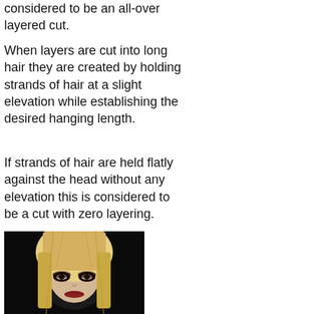considered to be an all-over layered cut.
When layers are cut into long hair they are created by holding strands of hair at a slight elevation while establishing the desired hanging length.
If strands of hair are held flatly against the head without any elevation this is considered to be a cut with zero layering.
[Figure (photo): A woman with blonde layered hair with bangs and dark eye makeup against a dark background, illustrating a layered hair cut style.]